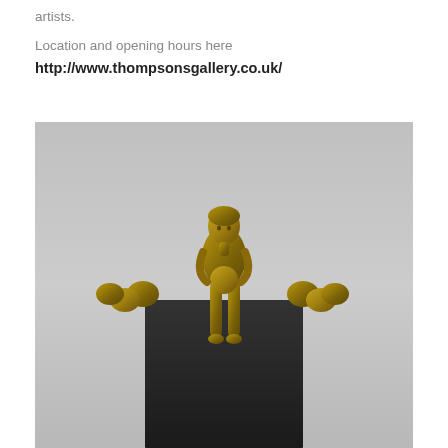artists.
Location and opening hours here
http://www.thompsonsgallery.co.uk/
[Figure (photo): Bronze sculpture of a seated figure holding a sphere, sitting atop a dark rectangular pedestal, with egg-shaped bronze forms flanking the figure on either side. Grey background.]